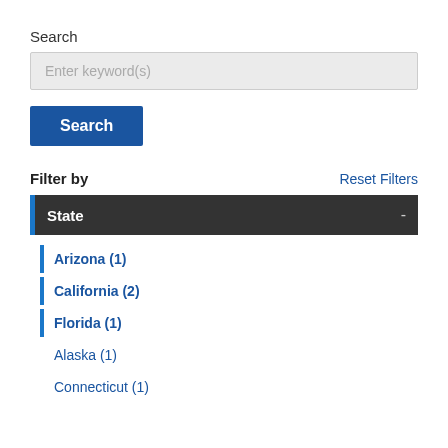Search
Enter keyword(s)
Search
Filter by
Reset Filters
State
Arizona (1)
California (2)
Florida (1)
Alaska (1)
Connecticut (1)